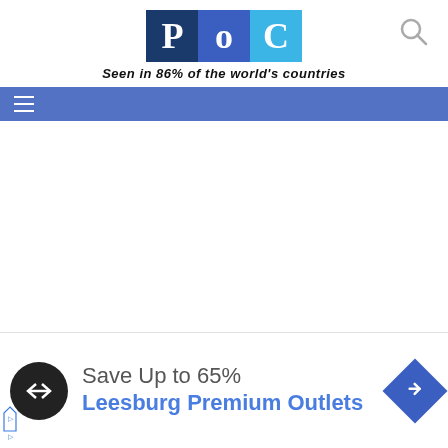[Figure (logo): PoC logo with three colored squares (dark blue P, medium blue o, light blue C) and tagline 'Seen in 86% of the world's countries']
Seen in 86% of the world's countries
[Figure (infographic): Blue navigation bar with hamburger menu icon (three horizontal white lines)]
[Figure (infographic): Dropdown chevron tab at bottom left, advertisement bar with Leesburg Premium Outlets ad: 'Save Up to 65%' and blue arrow icon]